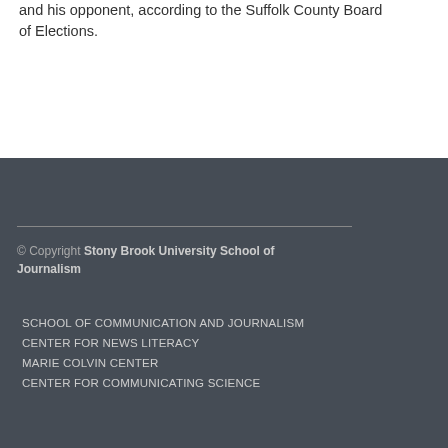and his opponent, according to the Suffolk County Board of Elections.
© Copyright Stony Brook University School of Journalism
SCHOOL OF COMMUNICATION AND JOURNALISM
CENTER FOR NEWS LITERACY
MARIE COLVIN CENTER
CENTER FOR COMMUNICATING SCIENCE